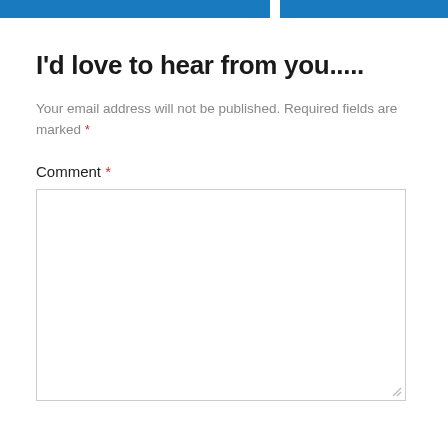I'd love to hear from you.....
Your email address will not be published. Required fields are marked *
Comment *